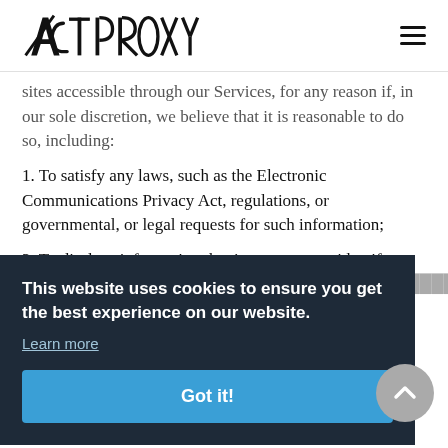ACTproxy
sites accessible through our Services, for any reason if, in our sole discretion, we believe that it is reasonable to do so, including:
1. To satisfy any laws, such as the Electronic Communications Privacy Act, regulations, or governmental, or legal requests for such information;
2. To disclose information that is necessary to identify, ... may
[Figure (screenshot): Cookie consent overlay with dark background. Text: 'This website uses cookies to ensure you get the best experience on our website.' Link: 'Learn more'. Button: 'Got it!' in blue.]
compelled to do so by lawful criminal, civil, or